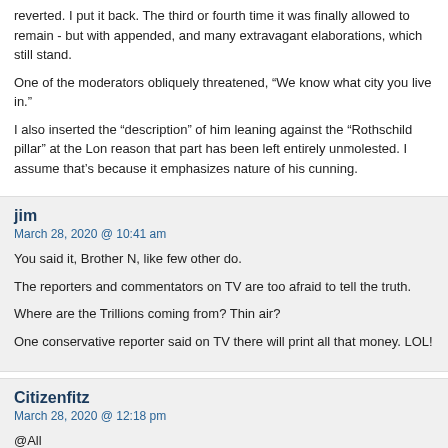reverted. I put it back. The third or fourth time it was finally allowed to remain - but with appended, and many extravagant elaborations, which still stand.
One of the moderators obliquely threatened, “We know what city you live in.”
I also inserted the “description” of him leaning against the “Rothschild pillar” at the Lon reason that part has been left entirely unmolested. I assume that’s because it emphasizes nature of his cunning.
jim
March 28, 2020 @ 10:41 am
You said it, Brother N, like few other do.
The reporters and commentators on TV are too afraid to tell the truth.
Where are the Trillions coming from? Thin air?
One conservative reporter said on TV there will print all that money. LOL!
Citizenfitz
March 28, 2020 @ 12:18 pm
@All